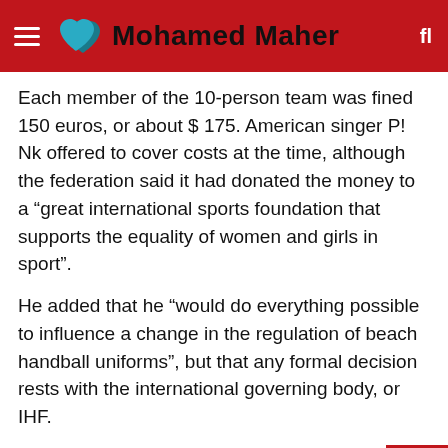Mohamed Maher
Each member of the 10-person team was fined 150 euros, or about $ 175. American singer P! Nk offered to cover costs at the time, although the federation said it had donated the money to a “great international sports foundation that supports the equality of women and girls in sport”.
He added that he “would do everything possible to influence a change in the regulation of beach handball uniforms”, but that any formal decision rests with the international governing body, or IHF.
In open letter, 5 countries urged IHF to review uniform policies
The IHF said in July that it appreciated the